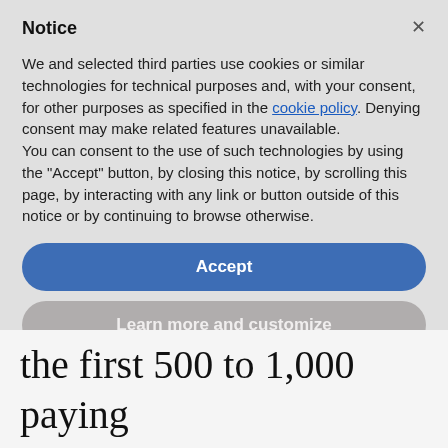Notice
We and selected third parties use cookies or similar technologies for technical purposes and, with your consent, for other purposes as specified in the cookie policy. Denying consent may make related features unavailable.
You can consent to the use of such technologies by using the “Accept” button, by closing this notice, by scrolling this page, by interacting with any link or button outside of this notice or by continuing to browse otherwise.
Accept
Learn more and customize
the first 500 to 1,000 paying

customers.